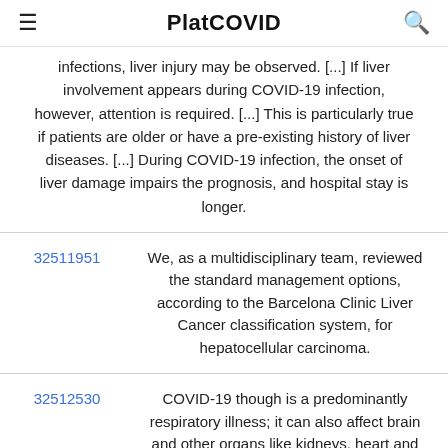PlatCOVID
infections, liver injury may be observed. [...] If liver involvement appears during COVID-19 infection, however, attention is required. [...] This is particularly true if patients are older or have a pre-existing history of liver diseases. [...] During COVID-19 infection, the onset of liver damage impairs the prognosis, and hospital stay is longer.
| ID | Text |
| --- | --- |
| 32511951 | We, as a multidisciplinary team, reviewed the standard management options, according to the Barcelona Clinic Liver Cancer classification system, for hepatocellular carcinoma. |
| 32512530 | COVID-19 though is a predominantly respiratory illness; it can also affect brain and other organs like kidneys, heart and liver. |
| 32513299 | Combined with severe heart, lung (diagnosed with interstitial lung disease, bronchial asthma, chronic obstructive pulmonary disease, etc.), liver and kidney |